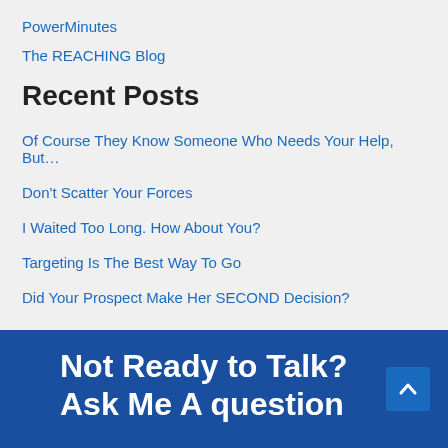PowerMinutes
The REACHING Blog
Recent Posts
Of Course They Know Someone Who Needs Your Help, But…
Don't Scatter Your Forces
I Waited Too Long. How About You?
Targeting Is The Best Way To Go
Did Your Prospect Make Her SECOND Decision?
Not Ready to Talk? Ask Me A question